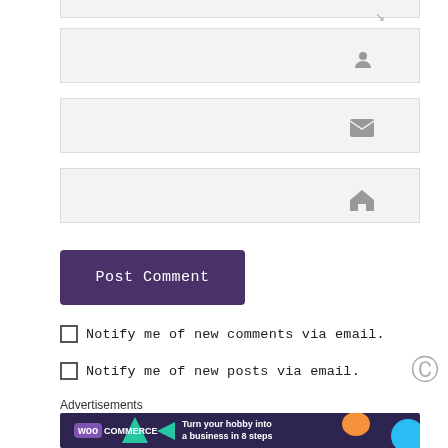[Figure (screenshot): Partial textarea input field at top with resize handle]
[Figure (screenshot): Name input field with user/person icon on right]
[Figure (screenshot): Email input field with envelope icon on right]
[Figure (screenshot): Website input field with house/home icon on right]
[Figure (screenshot): Post Comment button, dark purple rounded rectangle]
Notify me of new comments via email.
Notify me of new posts via email.
Advertisements
[Figure (screenshot): WooCommerce advertisement banner: Turn your hobby into a business in 8 steps]